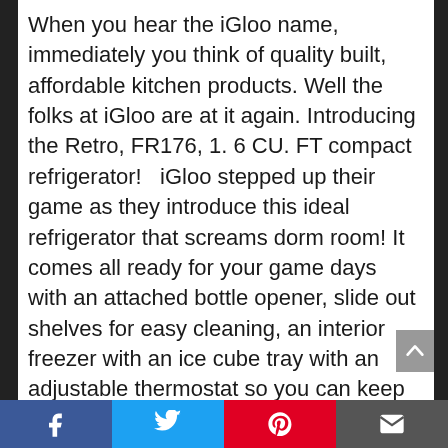When you hear the iGloo name, immediately you think of quality built, affordable kitchen products. Well the folks at iGloo are at it again. Introducing the Retro, FR176, 1. 6 CU. FT compact refrigerator!   iGloo stepped up their game as they introduce this ideal refrigerator that screams dorm room! It comes all ready for your game days with an attached bottle opener, slide out shelves for easy cleaning, an interior freezer with an ice cube tray with an adjustable thermostat so you can keep your two liters of bottle storage at the perfect temperature. With the flush back design, adjustable feet and reversible door, the Retro can go just about anywhere